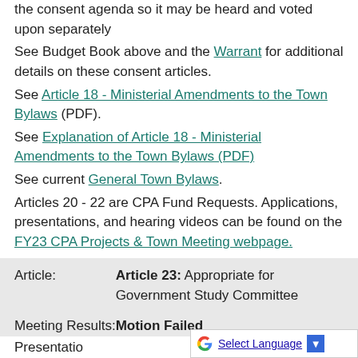the consent agenda so it may be heard and voted upon separately
See Budget Book above and the Warrant for additional details on these consent articles.
See Article 18 - Ministerial Amendments to the Town Bylaws (PDF).
See Explanation of Article 18 - Ministerial Amendments to the Town Bylaws (PDF)
See current General Town Bylaws.
Articles 20 - 22 are CPA Fund Requests. Applications, presentations, and hearing videos can be found on the FY23 CPA Projects & Town Meeting webpage.
| Article: | Article 23: Appropriate for Government Study Committee |
| Meeting Results: | Motion Failed |
| Presentatio |  |
Select Language